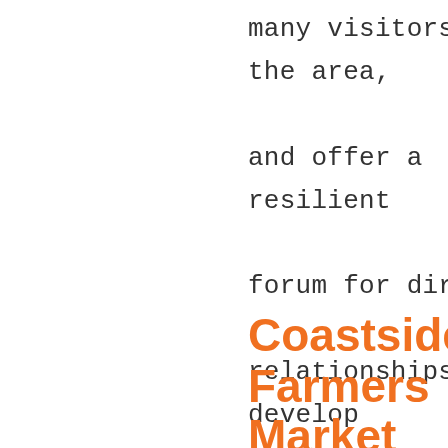many visitors to the area, and offer a resilient forum for direct relationships to develop and endure between the people of our community and those who produce our food.
Coastside Farmers Market